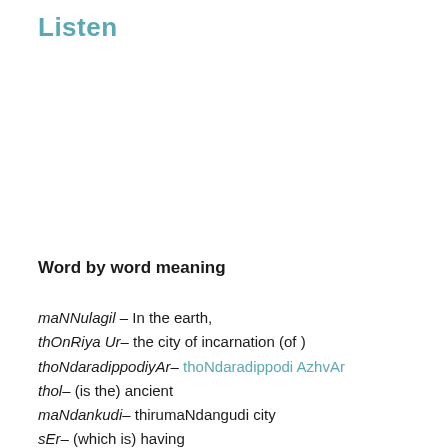Listen
Word by word meaning
maNNulagil – In the earth,
thOnRiya Ur– the city of incarnation (of )
thoNdaradippodiyAr– thoNdaradippodi AzhvAr
thol– (is the) ancient
maNdankudi– thirumaNdangudi city
sEr– (which is) having
pugazh– greatness